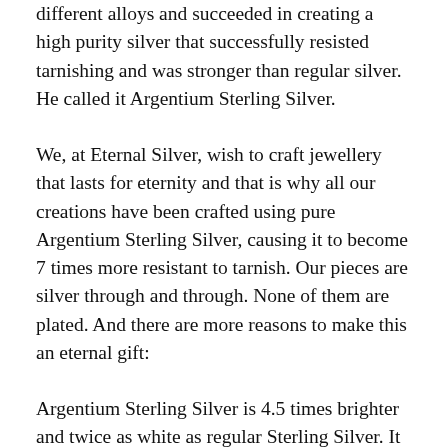different alloys and succeeded in creating a high purity silver that successfully resisted tarnishing and was stronger than regular silver. He called it Argentium Sterling Silver.
We, at Eternal Silver, wish to craft jewellery that lasts for eternity and that is why all our creations have been crafted using pure Argentium Sterling Silver, causing it to become 7 times more resistant to tarnish. Our pieces are silver through and through. None of them are plated. And there are more reasons to make this an eternal gift:
Argentium Sterling Silver is 4.5 times brighter and twice as white as regular Sterling Silver. It has the lustrous appearance of platinum or white gold.
Argentium Sterling Silver contains no nickel, making it hypoallergenic and safe for those suffering metal allergies